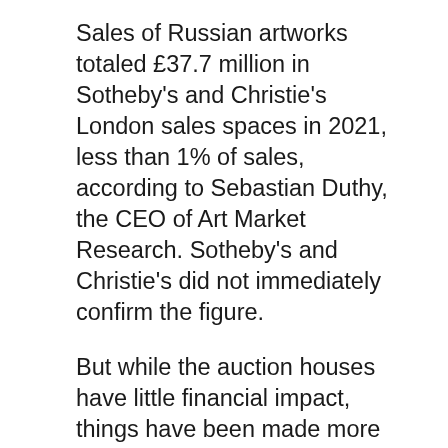Sales of Russian artworks totaled £37.7 million in Sotheby's and Christie's London sales spaces in 2021, less than 1% of sales, according to Sebastian Duthy, the CEO of Art Market Research. Sotheby's and Christie's did not immediately confirm the figure.
But while the auction houses have little financial impact, things have been made more difficult for collectors of Russian art — as well as those who work with them on deals — because of fears of accidentally transacting with Russians who may be on sanctions lists, art market advisers say. .
“It makes it harder for the Russians and it also makes it harder for the buyers, because right now you don’t want to get caught